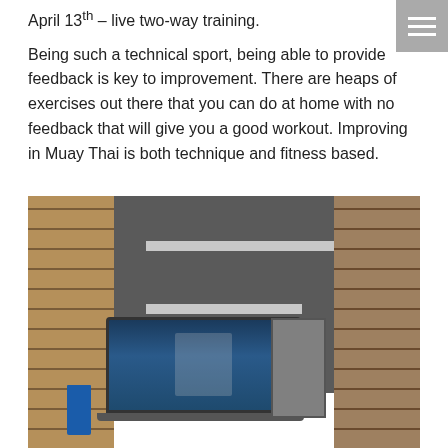April 13th – live two-way training.
Being such a technical sport, being able to provide feedback is key to improvement. There are heaps of exercises out there that you can do at home with no feedback that will give you a good workout. Improving in Muay Thai is both technique and fitness based.
[Figure (photo): A laptop computer on a table showing a person on its screen, set against a brick wall background with dark panels. A water bottle and a framed picture are also visible on the table.]